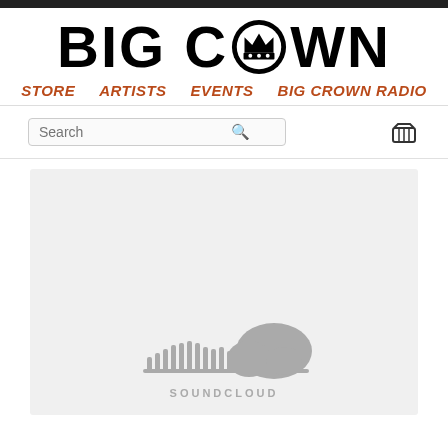BIG CROWN
STORE  ARTISTS  EVENTS  BIG CROWN RADIO
[Figure (screenshot): Search bar with magnifying glass icon and shopping basket icon]
[Figure (logo): SoundCloud logo with audio waveform bars and cloud shape, gray colored, with SOUNDCLOUD text below]